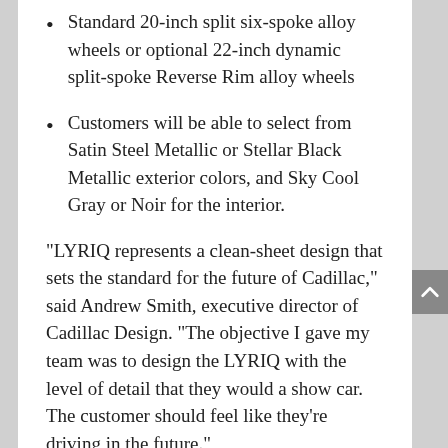Standard 20-inch split six-spoke alloy wheels or optional 22-inch dynamic split-spoke Reverse Rim alloy wheels
Customers will be able to select from Satin Steel Metallic or Stellar Black Metallic exterior colors, and Sky Cool Gray or Noir for the interior.
“LYRIQ represents a clean-sheet design that sets the standard for the future of Cadillac,” said Andrew Smith, executive director of Cadillac Design. “The objective I gave my team was to design the LYRIQ with the level of detail that they would a show car. The customer should feel like they’re driving in the future.”